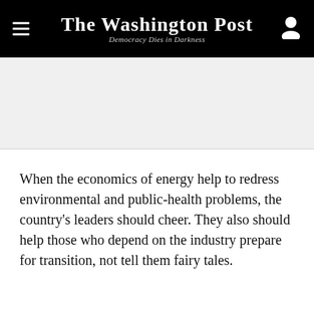The Washington Post — Democracy Dies in Darkness
When the economics of energy help to redress environmental and public-health problems, the country's leaders should cheer. They also should help those who depend on the industry prepare for transition, not tell them fairy tales.